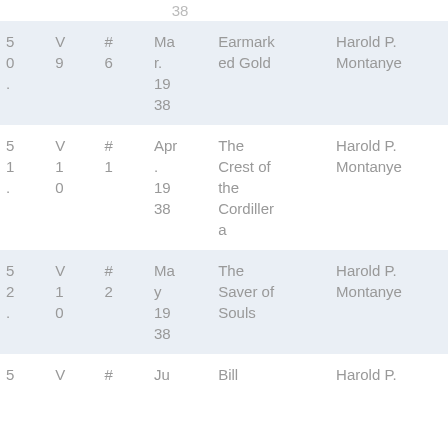|  | V | # | Date | Title | Author |
| --- | --- | --- | --- | --- | --- |
| 50. | 9 | 6 | Mar. 1938 | Earmarked Gold | Harold P. Montanye |
| 51. | 10 | 1 | Apr. 1938 | The Crest of the Cordillera | Harold P. Montanye |
| 52. | 10 | 2 | May 1938 | The Saver of Souls | Harold P. Montanye |
| 5 | V | # | Ju | Bill | Harold P. |